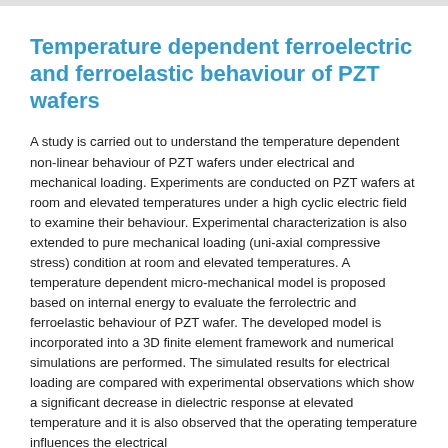Temperature dependent ferroelectric and ferroelastic behaviour of PZT wafers
A study is carried out to understand the temperature dependent non-linear behaviour of PZT wafers under electrical and mechanical loading. Experiments are conducted on PZT wafers at room and elevated temperatures under a high cyclic electric field to examine their behaviour. Experimental characterization is also extended to pure mechanical loading (uni-axial compressive stress) condition at room and elevated temperatures. A temperature dependent micro-mechanical model is proposed based on internal energy to evaluate the ferrolectric and ferroelastic behaviour of PZT wafer. The developed model is incorporated into a 3D finite element framework and numerical simulations are performed. The simulated results for electrical loading are compared with experimental observations which show a significant decrease in dielectric response at elevated temperature and it is also observed that the operating temperature influences the electrical